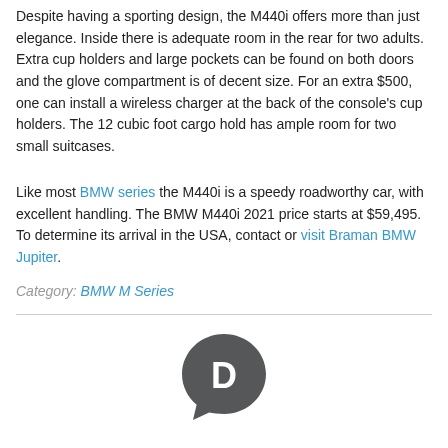Despite having a sporting design, the M440i offers more than just elegance. Inside there is adequate room in the rear for two adults. Extra cup holders and large pockets can be found on both doors and the glove compartment is of decent size. For an extra $500, one can install a wireless charger at the back of the console's cup holders. The 12 cubic foot cargo hold has ample room for two small suitcases.
Like most BMW series the M440i is a speedy roadworthy car, with excellent handling. The BMW M440i 2021 price starts at $59,495. To determine its arrival in the USA, contact or visit Braman BMW Jupiter.
Category: BMW M Series
[Figure (logo): Disqus logo — dark grey circular speech bubble icon with 'D' letter inside]